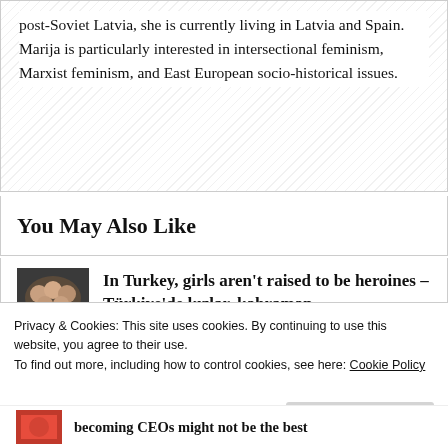post-Soviet Latvia, she is currently living in Latvia and Spain. Marija is particularly interested in intersectional feminism, Marxist feminism, and East European socio-historical issues.
You May Also Like
[Figure (photo): Thumbnail image for article about girls in Turkey, showing group of young women (mustang movie poster style)]
In Turkey, girls aren't raised to be heroines – Türkiye'de kızlar, kahraman
Privacy & Cookies: This site uses cookies. By continuing to use this website, you agree to their use.
To find out more, including how to control cookies, see here: Cookie Policy
Close and accept
[Figure (photo): Thumbnail image for second article (red toned image)]
becoming CEOs might not be the best